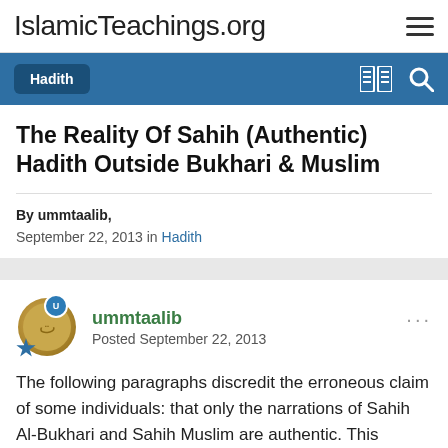IslamicTeachings.org
Hadith
The Reality Of Sahih (Authentic) Hadith Outside Bukhari & Muslim
By ummtaalib,
September 22, 2013 in Hadith
ummtaalib
Posted September 22, 2013
The following paragraphs discredit the erroneous claim of some individuals: that only the narrations of Sahih Al-Bukhari and Sahih Muslim are authentic. This rebuttal is